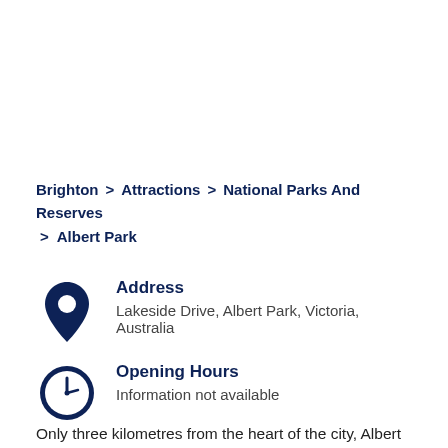Brighton > Attractions > National Parks And Reserves > Albert Park
Address
Lakeside Drive, Albert Park, Victoria, Australia
Opening Hours
Information not available
Only three kilometres from the heart of the city, Albert Park is popular for a range of activities like dog walking,